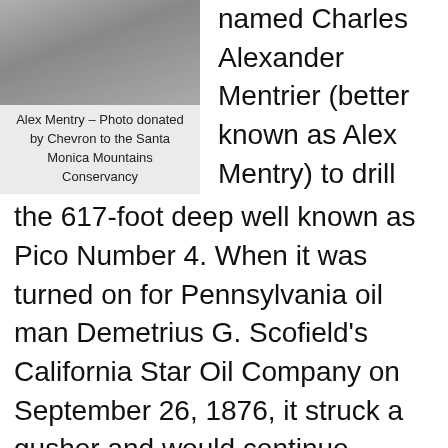[Figure (photo): Black and white photo of Alex Mentry, upper portion of a portrait.]
Alex Mentry – Photo donated by Chevron to the Santa Monica Mountains Conservancy
named Charles Alexander Mentrier (better known as Alex Mentry) to drill the 617-foot deep well known as Pico Number 4. When it was turned on for Pennsylvania oil man Demetrius G. Scofield's California Star Oil Company on September 26, 1876, it struck a gusher and would continue producing oil until the year 1990, making it the longest operating oil well in the world.
After the strike, up to a hundred families moved into the canyon in a settlement that became known as Mentryville. A schoolhouse